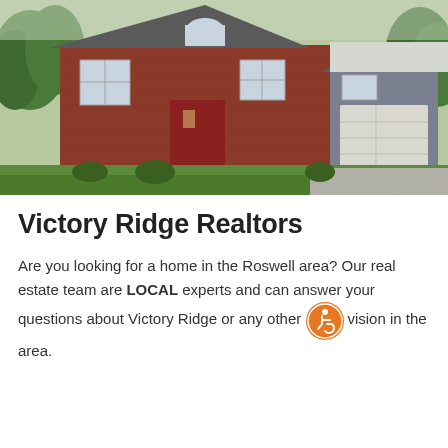[Figure (photo): Exterior photo of a two-story red brick house with white trim, red front door, two-car garage, green lawn, and trees in the background.]
Victory Ridge Realtors
Are you looking for a home in the Roswell area? Our real estate team are LOCAL experts and can answer your questions about Victory Ridge or any other subdivision in the area.